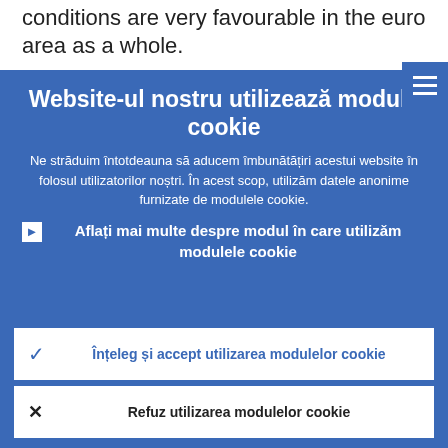conditions are very favourable in the euro area as a whole.
[Figure (screenshot): Blue hamburger/menu button in top-right corner]
Website-ul nostru utilizează module cookie
Ne străduim întotdeauna să aducem îmbunătățiri acestui website în folosul utilizatorilor noștri. În acest scop, utilizăm datele anonime furnizate de modulele cookie.
▶ Aflați mai multe despre modul în care utilizăm modulele cookie
✓ Înțeleg și accept utilizarea modulelor cookie
✕ Refuz utilizarea modulelor cookie